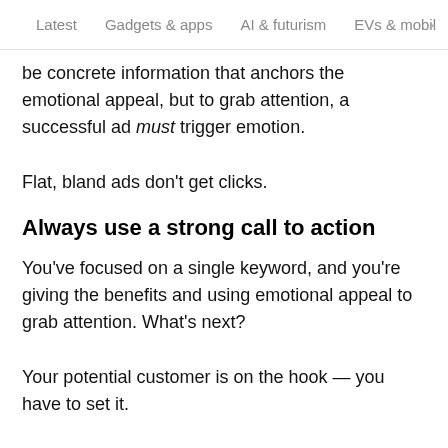Latest   Gadgets & apps   AI & futurism   EVs & mobil >
be concrete information that anchors the emotional appeal, but to grab attention, a successful ad must trigger emotion.
Flat, bland ads don't get clicks.
Always use a strong call to action
You've focused on a single keyword, and you're giving the benefits and using emotional appeal to grab attention. What's next?
Your potential customer is on the hook — you have to set it.
If you don't give them something to do, they won't follow through. Don't forget about your call to